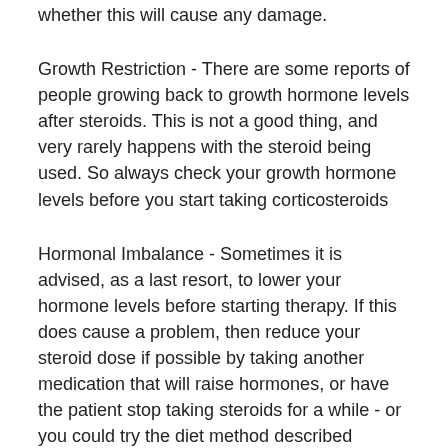whether this will cause any damage.
Growth Restriction - There are some reports of people growing back to growth hormone levels after steroids. This is not a good thing, and very rarely happens with the steroid being used. So always check your growth hormone levels before you start taking corticosteroids
Hormonal Imbalance - Sometimes it is advised, as a last resort, to lower your hormone levels before starting therapy. If this does cause a problem, then reduce your steroid dose if possible by taking another medication that will raise hormones, or have the patient stop taking steroids for a while - or you could try the diet method described above.
Other Problems - In some cases, people may find it hard to stop taking steroids, some